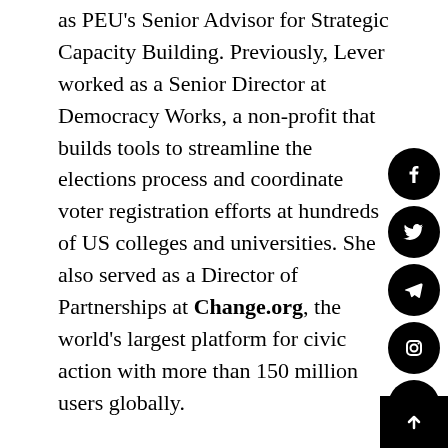as PEU's Senior Advisor for Strategic Capacity Building. Previously, Lever worked as a Senior Director at Democracy Works, a non-profit that builds tools to streamline the elections process and coordinate voter registration efforts at hundreds of US colleges and universities. She also served as a Director of Partnerships at Change.org, the world's largest platform for civic action with more than 150 million users globally.
In her spare time, she designs and leads training programs for youth activists and political leaders internationally, with a focus on organizing in a digital a…
About the Mayor's Public Engagement Unit
The Public Engagement Unit was created by Mayor de Blasio in 2015 to serve low-income New Yorkers and connect them to key City services, using innovative methods of outreach to reach PEU's mission to...
[Figure (other): Social media icon bar on the right side: Facebook, Twitter, Telegram, Instagram, YouTube, TikTok, Email, Phone, and a scroll-to-top arrow button]